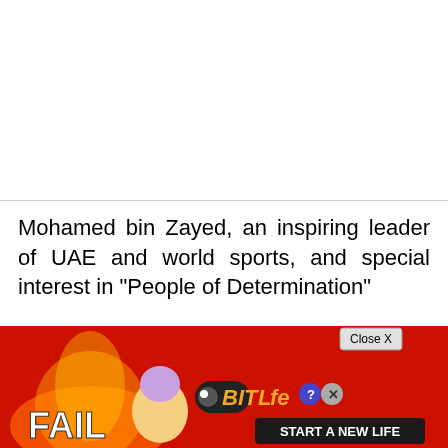Mohamed bin Zayed, an inspiring leader of UAE and world sports, and special interest in "People of Determination"
Mohammed bin Zayed is always open to h... of d...
[Figure (other): Advertisement overlay: BitLife game ad with red/fire background, 'FAIL' text, cartoon character, BitLife logo, 'START A NEW LIFE' button, and a 'Close X' button.]